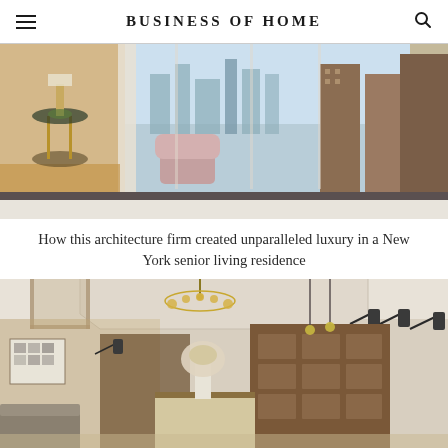BUSINESS OF HOME
[Figure (photo): Luxury bedroom interior with floor-to-ceiling windows overlooking New York City skyline, featuring elegant furniture, gold side table, pink armchair, and white bedding]
How this architecture firm created unparalleled luxury in a New York senior living residence
[Figure (photo): Elegant hotel or senior living lobby/common area with high vaulted ceiling, ornate chandelier, wall sconces, wooden reception desk, built-in shelving, and floral arrangement]